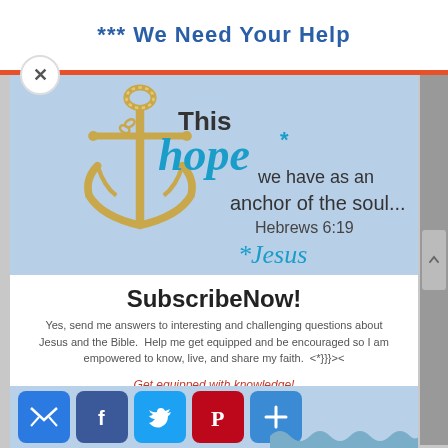*** We Need Your Help
[Figure (illustration): Gold anchor illustration with text overlay: 'This hope* we have as an anchor of the soul... Hebrews 6:19' and '*Jesus' in blue cursive, on a light blue background]
SubscribeNow!
Yes, send me answers to interesting and challenging questions about Jesus and the Bible. Help me get equipped and be encouraged so I am empowered to know, live, and share my faith. <*}}}><
Get equipped with knowledge!
Be encouraged in hope!
Live empowered with love!
[Figure (infographic): Social sharing buttons: email (blue), Facebook (dark blue), Twitter (light blue), Pinterest (red), share/plus (blue)]